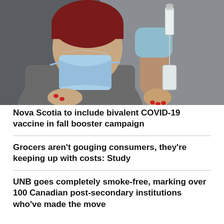[Figure (photo): A person wearing a dark red beanie hat and a light blue face mask, holding a vaccine vial and syringe with red-painted fingernails, against a grey background.]
Nova Scotia to include bivalent COVID-19 vaccine in fall booster campaign
Grocers aren't gouging consumers, they're keeping up with costs: Study
UNB goes completely smoke-free, marking over 100 Canadian post-secondary institutions who've made the move